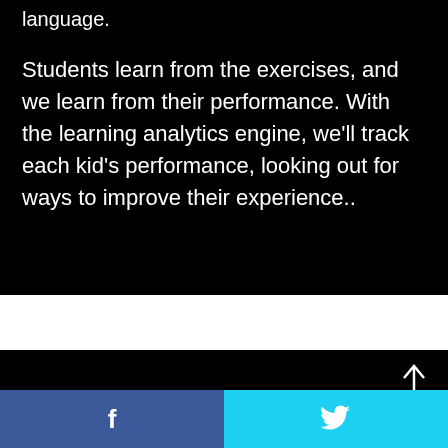language.
Students learn from the exercises, and we learn from their performance. With the learning analytics engine, we'll track each kid's performance, looking out for ways to improve their experience..
[Figure (screenshot): Black panel area below white gap, part of a web page screenshot showing a dark section]
f  [Twitter bird icon]